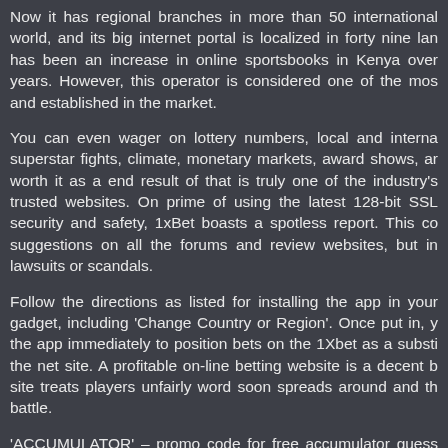Now it has regional branches in more than 50 international world, and its big internet portal is localized in forty nine lan has been an increase in online sportsbooks in Kenya over years. However, this operator is considered one of the mos and established in the market.
You can even wager on lottery numbers, local and interna superstar fights, climate, monetary markets, award shows, ar worth it as a end result of that is truly one of the industry's trusted websites. On prime of using the latest 128-bit SSL security and safety, 1xBet boasts a spotless report. This co suggestions on all the forums and review websites, but in lawsuits or scandals.
Follow the directions as listed for installing the app in your gadget, including 'Change Country or Region'. Once put in, y the app immediately to position bets on the 1Xbet as a substi the net site. A profitable on-line betting website is a decent b site treats players unfairly word soon spreads around and th battle.
'ACCUMULATOR' – promo code for free accumulator guess three occasions or more – every occasion. Blackjack is one game that's most well-liked by many Kenyans and may b when playing in the live on line casino. The goal of this spor supplier, which you may find a way to obtain if you draw a har larger than the supplier. You also win a spherical if you draw a 21 on the first two playing cards or if the supplier attracts worth greater than 21. Some of the blackjack variations t